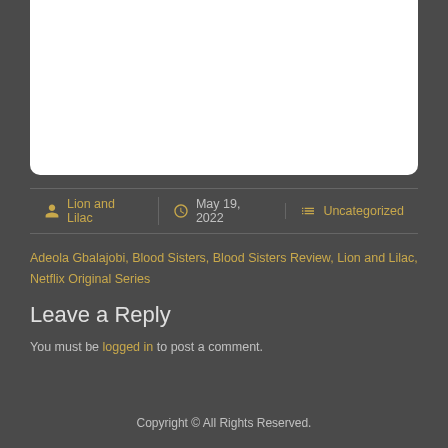[Figure (other): White rounded box at top of page]
Lion and Lilac | May 19, 2022 | Uncategorized
Adeola Gbalajobi, Blood Sisters, Blood Sisters Review, Lion and Lilac, Netflix Original Series
Leave a Reply
You must be logged in to post a comment.
Copyright © All Rights Reserved.